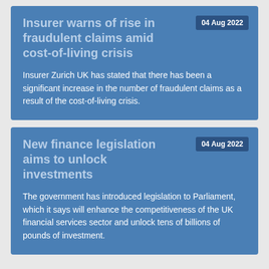Insurer warns of rise in fraudulent claims amid cost-of-living crisis
04 Aug 2022
Insurer Zurich UK has stated that there has been a significant increase in the number of fraudulent claims as a result of the cost-of-living crisis.
New finance legislation aims to unlock investments
04 Aug 2022
The government has introduced legislation to Parliament, which it says will enhance the competitiveness of the UK financial services sector and unlock tens of billions of pounds of investment.